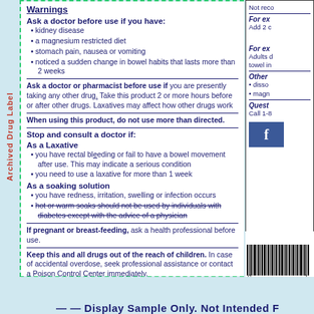Archived Drug Label
Warnings
Ask a doctor before use if you have:
kidney disease
a magnesium restricted diet
stomach pain, nausea or vomiting
noticed a sudden change in bowel habits that lasts more than 2 weeks
Ask a doctor or pharmacist before use if you are presently taking any other drug. Take this product 2 or more hours before or after other drugs. Laxatives may affect how other drugs work
When using this product, do not use more than directed.
Stop and consult a doctor if:
As a Laxative
you have rectal bleeding or fail to have a bowel movement after use. This may indicate a serious condition
you need to use a laxative for more than 1 week
As a soaking solution
you have redness, irritation, swelling or infection occurs
hot or warm soaks should not be used by individuals with diabetes except with the advice of a physician
If pregnant or breast-feeding, ask a health professional before use.
Keep this and all drugs out of the reach of children. In case of accidental overdose, seek professional assistance or contact a Poison Control Center immediately.
Display Sample Only. Not Intended F